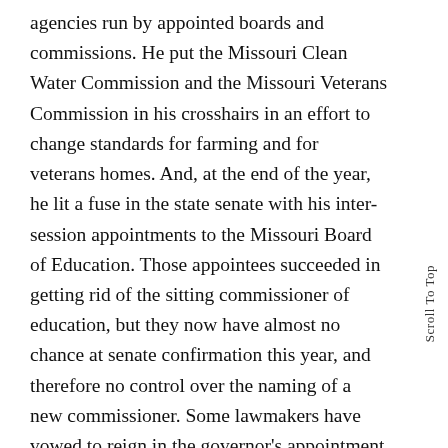agencies run by appointed boards and commissions. He put the Missouri Clean Water Commission and the Missouri Veterans Commission in his crosshairs in an effort to change standards for farming and for veterans homes. And, at the end of the year, he lit a fuse in the state senate with his inter-session appointments to the Missouri Board of Education. Those appointees succeeded in getting rid of the sitting commissioner of education, but they now have almost no chance at senate confirmation this year, and therefore no control over the naming of a new commissioner. Some lawmakers have vowed to reign in the governor's appointment powers. The issue which most dogged the governor into his second year in office is transparency. Greitens ran on a promise to be the most transparent governor in state